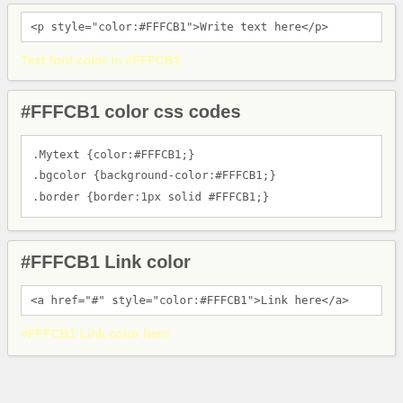<p style="color:#FFFCB1">Write text here</p>
Text font color in #FFFCB1
#FFFCB1 color css codes
.Mytext {color:#FFFCB1;}
.bgcolor {background-color:#FFFCB1;}
.border {border:1px solid #FFFCB1;}
#FFFCB1 Link color
<a href="#" style="color:#FFFCB1">Link here</a>
#FFFCB1 Link color here